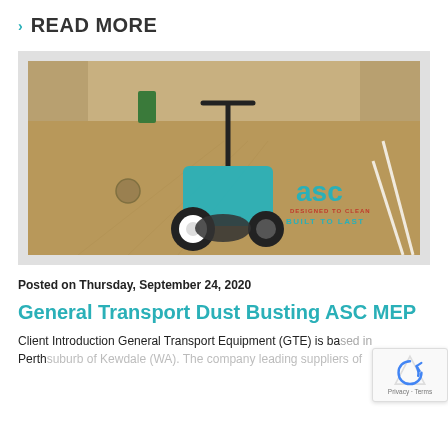> READ MORE
[Figure (photo): A teal ASC MEP floor sweeper machine in a large industrial warehouse, with the ASC logo and 'BUILT TO LAST' tagline visible in the lower right of the image.]
Posted on Thursday, September 24, 2020
General Transport Dust Busting ASC MEP
Client Introduction General Transport Equipment (GTE) is based in Perth Is suburb of Kewdale (WA). The company leading suppliers of